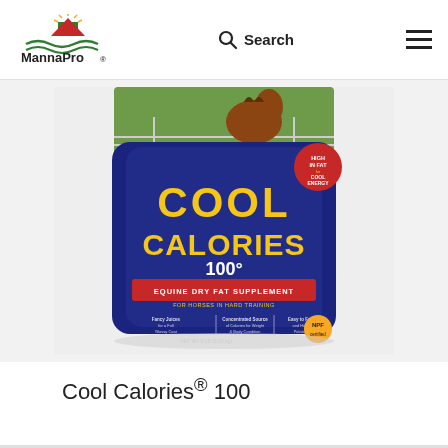MannaPro nurturing life. Search
[Figure (photo): Product photo of a blue bag labeled 'Cool Calories 100 Equine Dry Fat Supplement for Horses in Hard Training' with an image of a horse on the label. The bag has gold lettering and a red badge reading 'High in Fat for Cool Energy'. Net weight 8 lb (3.63 kg).]
Cool Calories® 100